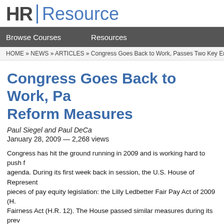HR Resource
Browse Courses   Resources
HOME » NEWS » ARTICLES » Congress Goes Back to Work, Passes Two Key Employment Reform Measures
Congress Goes Back to Work, Passes Two Key Employment Reform Measures
Paul Siegel and Paul DeCa
January 28, 2009 — 2,268 views
Congress has hit the ground running in 2009 and is working hard to push forward its agenda. During its first week back in session, the U.S. House of Representatives passed two pieces of pay equity legislation: the Lilly Ledbetter Fair Pay Act of 2009 (H. ...) and the Paycheck Fairness Act (H.R. 12). The House passed similar measures during its previous session, but the proposed legislation lacked sufficient support in the Senate. Now, with better prospects in the Senate — and no threat of a Presidential veto — the bills are poised to become law. These reform measures would make it easier for plaintiffs to prevail in pay discrimination suits against employers.
Lilly Ledbetter Fair Pay Act
The Lilly Ledbetter Fair Pay Act, passed by a House vote of 247 to 171 o...